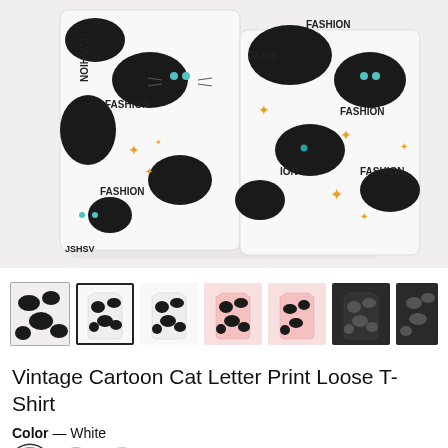[Figure (photo): Main product photo showing a white t-shirt with black cartoon cat silhouettes and 'FASHION' text printed all over, laid flat from above.]
[Figure (photo): Thumbnail gallery row showing 7 product color/view variants: white cat print (flat lay), white cat print (shirt front), white cat print (shirt front smaller), pink cat print, pink cat print (shirt front), black cat print, black cat print (partial).]
Vintage Cartoon Cat Letter Print Loose T-Shirt
Color — White